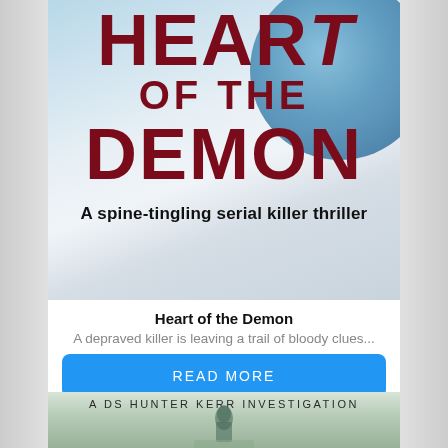[Figure (illustration): Book cover for 'Heart of the Demon' showing large dark red title text on a pale blue/grey background with a blue circular element. Subtitle reads 'A spine-tingling serial killer thriller'.]
Heart of the Demon
A depraved killer is leaving a trail of bloody clues...
READ MORE
[Figure (illustration): Bottom portion of a second book cover showing 'A DS HUNTER KERR INVESTIGATION' text with a green-tinted misty landscape and female silhouette figure.]